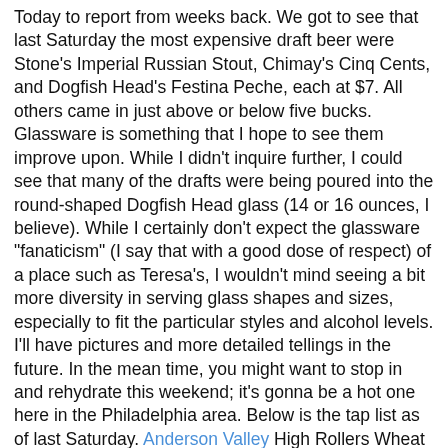Today to report from weeks back. We got to see that last Saturday the most expensive draft beer were Stone's Imperial Russian Stout, Chimay's Cinq Cents, and Dogfish Head's Festina Peche, each at $7. All others came in just above or below five bucks. Glassware is something that I hope to see them improve upon. While I didn't inquire further, I could see that many of the drafts were being poured into the round-shaped Dogfish Head glass (14 or 16 ounces, I believe). While I certainly don't expect the glassware "fanaticism" (I say that with a good dose of respect) of a place such as Teresa's, I wouldn't mind seeing a bit more diversity in serving glass shapes and sizes, especially to fit the particular styles and alcohol levels. I'll have pictures and more detailed tellings in the future. In the mean time, you might want to stop in and rehydrate this weekend; it's gonna be a hot one here in the Philadelphia area. Below is the tap list as of last Saturday. Anderson Valley High Rollers Wheat Avery Maharaja IPA Brooklyn Brooklynator Doppelbock (Brewmasters Reserve) Chimay Cinq Cents (White label/cap) Dogfish Head Festina Peche Flying Dog In Heat Wheat Flying Fish Imperial Espresso Porter Magic Hat Circus Boy Ramstein (High Point Brewing) Mai Bock Rogue Black Brutal Bitter (John's Locker Stock) Sierra Nevada